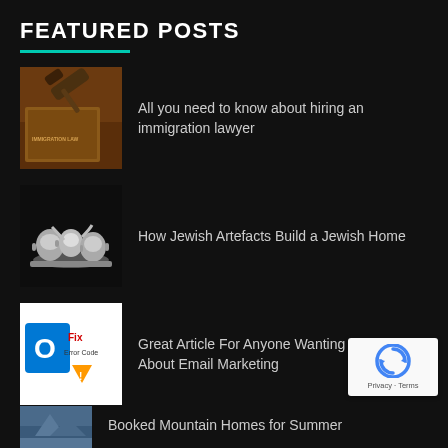FEATURED POSTS
All you need to know about hiring an immigration lawyer
How Jewish Artefacts Build a Jewish Home
Great Article For Anyone Wanting To Learn About Email Marketing
Booked Mountain Homes for Summer